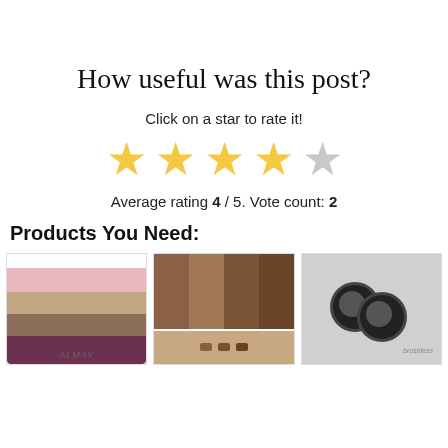How useful was this post?
Click on a star to rate it!
[Figure (infographic): Star rating widget showing 4 out of 5 stars filled in gold, one star in grey]
Average rating 4 / 5. Vote count: 2
Products You Need:
[Figure (photo): Almay eyeshadow palette with pink, taupe, brown, and plum shades]
[Figure (photo): Eyeshadow swatches in brown and taupe shades on skin]
[Figure (photo): Two small black MAC eyeshadow pots]